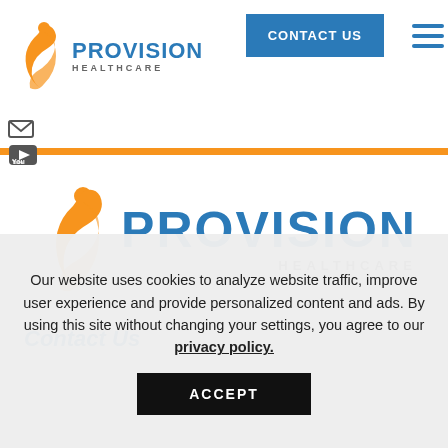[Figure (logo): Provision Healthcare logo in header — orange figure/swoosh icon with 'PROVISION HEALTHCARE' text in blue]
[Figure (other): CONTACT US button (blue rectangle) and hamburger menu icon in header]
[Figure (other): Small social media icons (email and YouTube) on the left side below header]
[Figure (logo): Large Provision Healthcare logo centered in main content area — orange figure/swoosh icon with large 'PROVISION HEALTHCARE' text in blue]
Contact Us
Our website uses cookies to analyze website traffic, improve user experience and provide personalized content and ads. By using this site without changing your settings, you agree to our privacy policy.